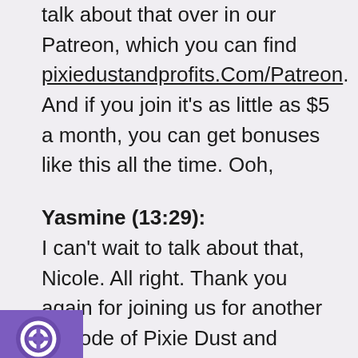talk about that over in our Patreon, which you can find pixiedustandprofits.Com/Patreon. And if you join it's as little as $5 a month, you can get bonuses like this all the time. Ooh,
Yasmine (13:29):
I can't wait to talk about that, Nicole. All right. Thank you again for joining us for another episode of Pixie Dust and Profits. If you're not following us on Instagram, we are @pixiedustandprofits, and we'd love to hear what you think about this episode. Make sure
[Figure (logo): Purple circular icon with a lifesaver/help ring symbol in white, partially visible at bottom left corner]